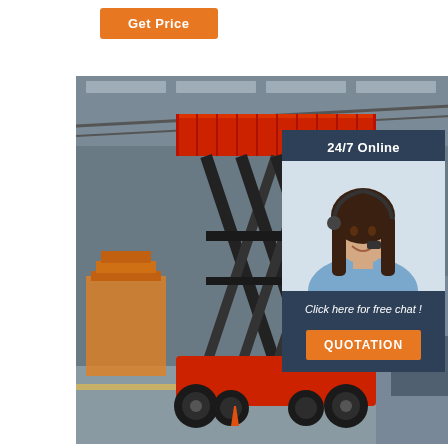Get Price
[Figure (photo): A large red scissor lift / mobile elevated work platform (MEWP) inside an industrial warehouse facility. The machine has a red base with large wheels and a tall scissor mechanism topped with a red safety railing platform. A red overhead crane beam is visible in the background.]
24/7 Online
[Figure (photo): A smiling female customer service agent wearing a headset, dressed in a light blue shirt, with dark long hair.]
Click here for free chat !
QUOTATION